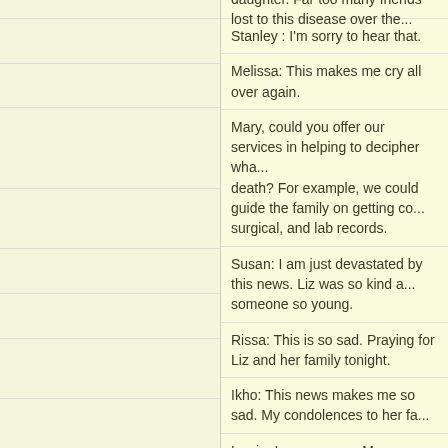daughter. Far too many friends lost to this disease over the...
Stanley : I'm sorry to hear that.
Melissa: This makes me cry all over again.
Mary, could you offer our services in helping to decipher wha... death? For example, we could guide the family on getting co... surgical, and lab records.
Susan: I am just devastated by this news. Liz was so kind a... someone so young.
Rissa: This is so sad. Praying for Liz and her family tonight.
Ikho: This news makes me so sad. My condolences to her fa...
Lorrie: I am so sorry. My prayers go out to her family. 45 yea... God Bless them.
Amy: I'm still just in shock. Thinking back I can remember th... playing with something. I never could figure out what that ca... is just surreal to me . . . 😕
Jenny: Please pass on my condolences, her family will be in... unbelievably sad. :'(